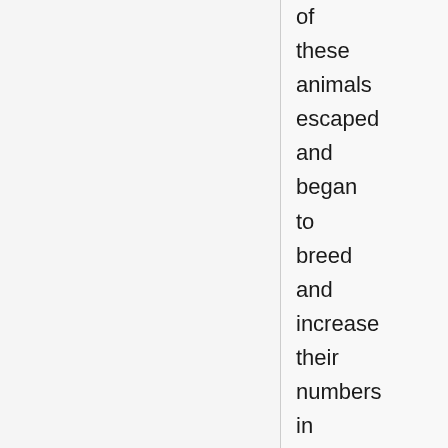of these animals escaped and began to breed and increase their numbers in the wild. Ironically,